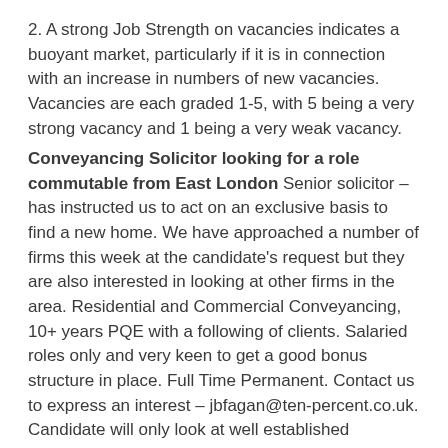2. A strong Job Strength on vacancies indicates a buoyant market, particularly if it is in connection with an increase in numbers of new vacancies. Vacancies are each graded 1-5, with 5 being a very strong vacancy and 1 being a very weak vacancy.
Conveyancing Solicitor looking for a role commutable from East London Senior solicitor – has instructed us to act on an exclusive basis to find a new home. We have approached a number of firms this week at the candidate's request but they are also interested in looking at other firms in the area. Residential and Commercial Conveyancing, 10+ years PQE with a following of clients. Salaried roles only and very keen to get a good bonus structure in place. Full Time Permanent. Contact us to express an interest – jbfagan@ten-percent.co.uk. Candidate will only look at well established practices on all the lenders panels. Lexcel accredited firms preferred.